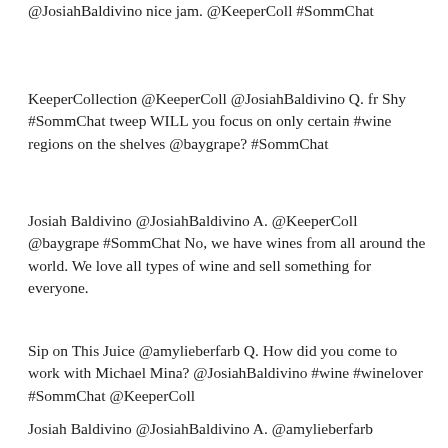@JosiahBaldivino nice jam. @KeeperColl #SommChat
KeeperCollection @KeeperColl @JosiahBaldivino Q. fr Shy #SommChat tweep WILL you focus on only certain #wine regions on the shelves @baygrape? #SommChat
Josiah Baldivino @JosiahBaldivino A. @KeeperColl @baygrape #SommChat No, we have wines from all around the world. We love all types of wine and sell something for everyone.
Sip on This Juice @amylieberfarb Q. How did you come to work with Michael Mina? @JosiahBaldivino #wine #winelover #SommChat @KeeperColl
Josiah Baldivino @JosiahBaldivino A. @amylieberfarb